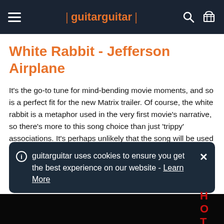guitarguitar
White Rabbit - Jefferson Airplane
It's the go-to tune for mind-bending movie moments, and so is a perfect fit for the new Matrix trailer. Of course, the white rabbit is a metaphor used in the very first movie's narrative, so there's more to this song choice than just 'trippy' associations. It's perhaps unlikely that the song will be used in the movie since it's a rather on-the-nose reference, but in setting audiences up to expect the unexpected, it's the perfect first pill to swallow. Will you choose blue or red?
guitarguitar uses cookies to ensure you get the best experience on our website - Learn More